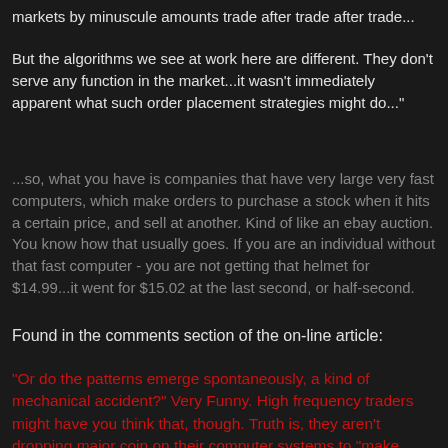markets by minuscule amounts trade after trade after trade...
But the algorithms we see at work here are different. They don't serve any function in the market...it wasn't immediately apparent what such order placement strategies might do..."
...so, what you have is companies that have very large very fast computers, which make orders to purchase a stock when it hits a certain price, and sell at another. Kind of like an ebay auction. You know how that usually goes. If you are an individual without that fast computer - you are not getting that helmet for $14.99...it went for $15.02 at the last second, or half-second.
Found in the comments section of the on-line article:
"Or do the patterns emerge spontaneously, a kind of mechanical accident?" Very Funny. High frequency traders might have you think that, though. Truth is, they aren't dropping major coin on their computer systems to "make noise". The trading patterns which emerge at the millisecond profile are no more accident than hostile tanks rolling into